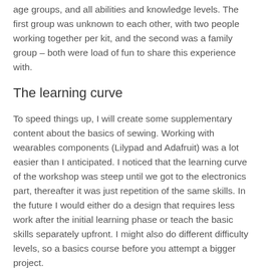age groups, and all abilities and knowledge levels. The first group was unknown to each other, with two people working together per kit, and the second was a family group – both were load of fun to share this experience with.
The learning curve
To speed things up, I will create some supplementary content about the basics of sewing. Working with wearables components (Lilypad and Adafruit) was a lot easier than I anticipated. I noticed that the learning curve of the workshop was steep until we got to the electronics part, thereafter it was just repetition of the same skills. In the future I would either do a design that requires less work after the initial learning phase or teach the basic skills separately upfront. I might also do different difficulty levels, so a basics course before you attempt a bigger project.